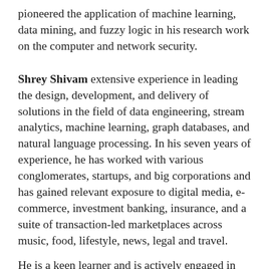pioneered the application of machine learning, data mining, and fuzzy logic in his research work on the computer and network security.
Shrey Shivam extensive experience in leading the design, development, and delivery of solutions in the field of data engineering, stream analytics, machine learning, graph databases, and natural language processing. In his seven years of experience, he has worked with various conglomerates, startups, and big corporations and has gained relevant exposure to digital media, e-commerce, investment banking, insurance, and a suite of transaction-led marketplaces across music, food, lifestyle, news, legal and travel.
He is a keen learner and is actively engaged in designing the next generation of systems powered by artificial intelligence-based analytical and predictive models. He